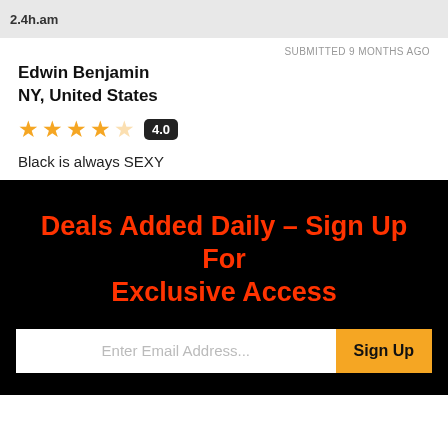2.4h.am
SUBMITTED 9 MONTHS AGO
Edwin Benjamin
NY, United States
★★★★☆ 4.0
Black is always SEXY
Deals Added Daily – Sign Up For Exclusive Access
Enter Email Address... Sign Up